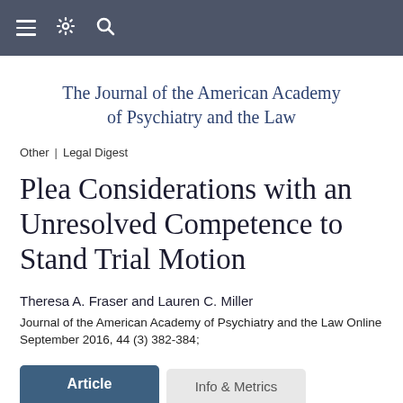≡ ⚙ 🔍
The Journal of the American Academy of Psychiatry and the Law
Other | Legal Digest
Plea Considerations with an Unresolved Competence to Stand Trial Motion
Theresa A. Fraser and Lauren C. Miller
Journal of the American Academy of Psychiatry and the Law Online September 2016, 44 (3) 382-384;
Article
Info & Metrics